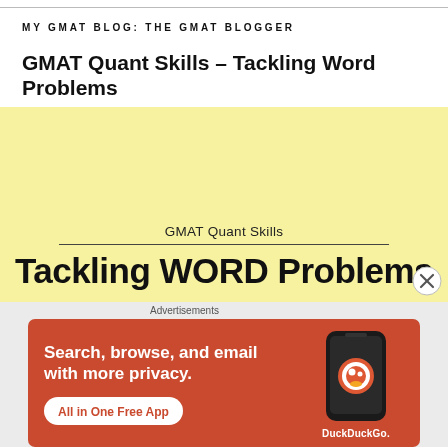MY GMAT BLOG: THE GMAT BLOGGER
GMAT Quant Skills – Tackling Word Problems
[Figure (illustration): Yellow banner image with subtitle 'GMAT Quant Skills', a horizontal divider, and large bold text 'Tackling WORD Problems' on a pale yellow background. A close/X button appears at bottom right.]
Advertisements
[Figure (illustration): DuckDuckGo advertisement on an orange-red background. Text reads: 'Search, browse, and email with more privacy. All in One Free App'. Features a phone graphic and DuckDuckGo logo/branding on the right.]